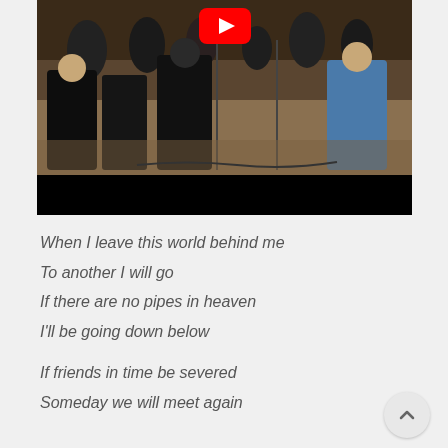[Figure (photo): Orchestra musicians performing on stage, with a YouTube logo overlay at the top center. The bottom portion of the video is a black bar.]
When I leave this world behind me
To another I will go
If there are no pipes in heaven
I'll be going down below

If friends in time be severed
Someday we will meet again